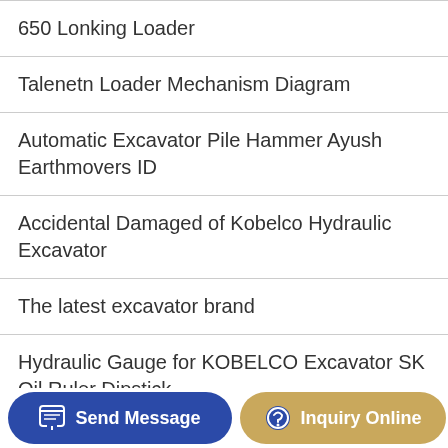650 Lonking Loader
Talenetn Loader Mechanism Diagram
Automatic Excavator Pile Hammer Ayush Earthmovers ID
Accidental Damaged of Kobelco Hydraulic Excavator
The latest excavator brand
Hydraulic Gauge for KOBELCO Excavator SK Oil Ruler Dipstick
Excavator diesel
Smoke workers excavator failure